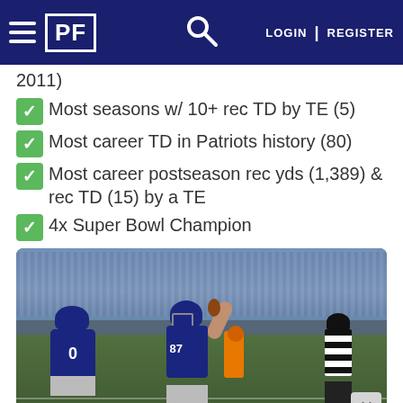PF — LOGIN | REGISTER
2011)
Most seasons w/ 10+ rec TD by TE (5)
Most career TD in Patriots history (80)
Most career postseason rec yds (1,389) & rec TD (15) by a TE
4x Super Bowl Champion
[Figure (photo): Football player #87 in New England Patriots uniform raising arm with ball, with referee and other players on field with crowd in background]